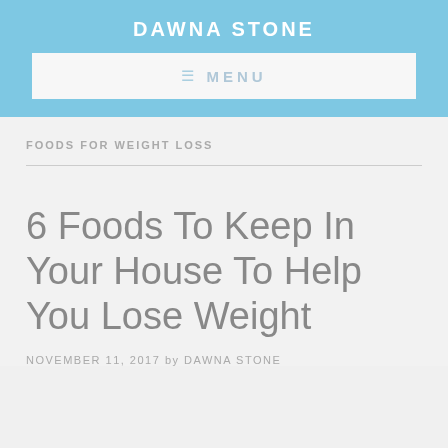DAWNA STONE
≡  MENU
FOODS FOR WEIGHT LOSS
6 Foods To Keep In Your House To Help You Lose Weight
NOVEMBER 11, 2017 by DAWNA STONE